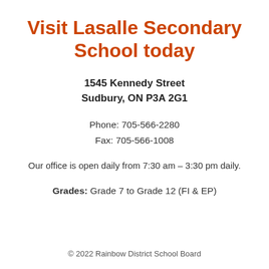Visit Lasalle Secondary School today
1545 Kennedy Street
Sudbury, ON P3A 2G1
Phone: 705-566-2280
Fax: 705-566-1008
Our office is open daily from 7:30 am – 3:30 pm daily.
Grades: Grade 7 to Grade 12 (FI & EP)
© 2022 Rainbow District School Board